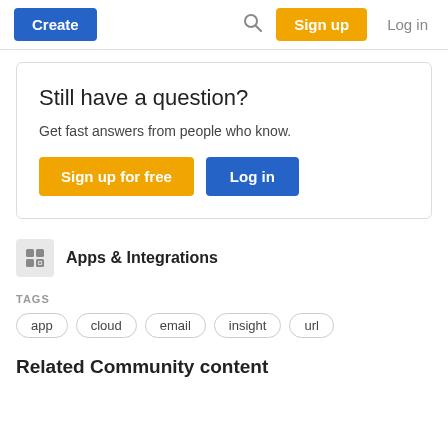Create | Sign up | Log in
Still have a question?
Get fast answers from people who know.
Apps & Integrations
TAGS
app
cloud
email
insight
url
Related Community content